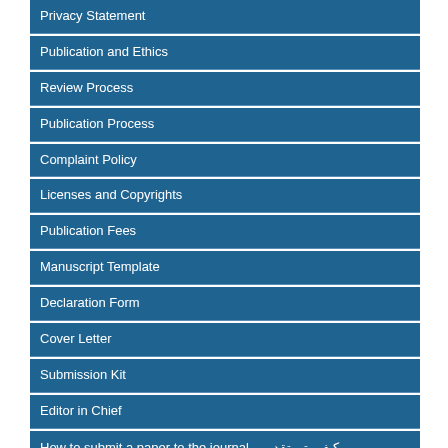Privacy Statement
Publication and Ethics
Review Process
Publication Process
Complaint Policy
Licenses and Copyrights
Publication Fees
Manuscript Template
Declaration Form
Cover Letter
Submission Kit
Editor in Chief
How to submit a paper to the journal - كيف يتم تقديم بحث الى المجلة